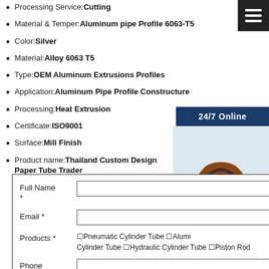Processing Service: Cutting
Material & Temper: Aluminum pipe Profile 6063-T5
Color: Silver
Material: Alloy 6063 T5
Type: OEM Aluminum Extrusions Profiles
Application: Aluminum Pipe Profile Constructure
Processing: Heat Extrusion
Certificate: ISO9001
Surface: Mill Finish
Product name: Thailand Custom Design Paper Tube Trader
[Figure (photo): Customer service representative woman smiling wearing a headset, with 24/7 Online banner above and Have any requests click here text below with Quotation button]
| Field | Value |
| --- | --- |
| Full Name * |  |
| Email * |  |
| Products * | ☐Pneumatic Cylinder Tube ☐Alumi Cylinder Tube ☐Hydraulic Cylinder Tube ☐Piston Rod |
| Phone Number |  |